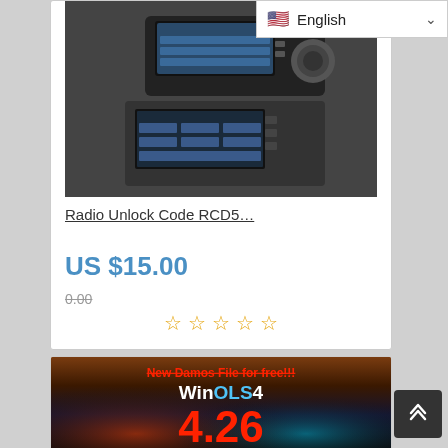[Figure (screenshot): Language selector bar showing US flag and 'English' with dropdown arrow]
[Figure (photo): Product listing card showing radio units with ITCDIAG branding and 'Radio Code Unlock for RNS 310 315 RCD510' text in red]
Radio Unlock Code RCD5…
US $15.00
0.00
[Figure (other): Five empty orange star rating icons]
[Figure (screenshot): Product listing card showing WinOLS4 software with 'New Damos File for free!!!' text and version number 4.26]
[Figure (other): Scroll-to-top button with upward chevron icon]